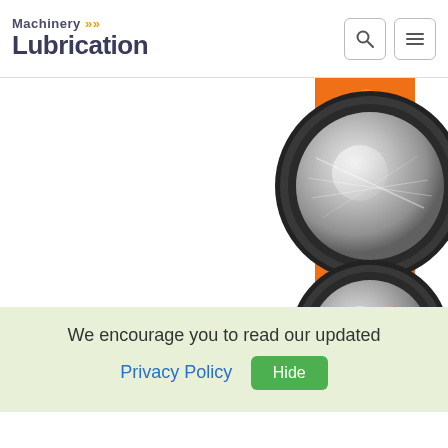Machinery Lubrication
[Figure (illustration): Two metallic dial/knob controls on an orange background. Top knob labeled 'At Rest' showing stationary position; bottom knob showing a red arrow indicating rotation/movement.]
We encourage you to read our updated
Privacy Policy  Hide